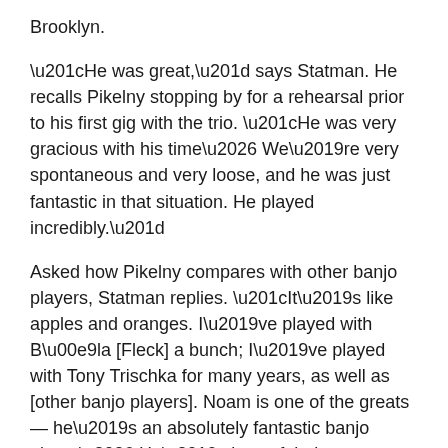Brooklyn.
“He was great,” says Statman. He recalls Pikelny stopping by for a rehearsal prior to his first gig with the trio. “He was very gracious with his time… We’re very spontaneous and very loose, and he was just fantastic in that situation. He played incredibly.”
Asked how Pikelny compares with other banjo players, Statman replies. “It’s like apples and oranges. I’ve played with Béla [Fleck] a bunch; I’ve played with Tony Trischka for many years, as well as [other banjo players]. Noam is one of the greats — he’s an absolutely fantastic banjo player… He’s just a fabulous musician, incredibly inventive and a lot of fun to play with.”
That’s good enough for me. I’ll be at the show.
Further cementing the deal, Pikelny assures me that he